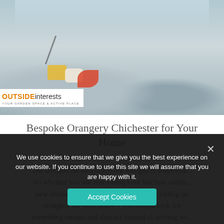[Figure (photo): Interior photo of a modern living room with grey sofas, colorful cushions (yellow, red, cream), and large windows in the background. Outside Interests logo overlaid bottom-left.]
Bespoke Orangery Chichester for Your Home
The demand for bespoke home designs is everywhere. So whether you are renovating your kitchen, adding new timber to your house and garden, or adding on an orangery for your home – you should look for something unique and distinct instead of settling wi...
We use cookies to ensure that we give you the best experience on our website. If you continue to use this site we will assume that you are happy with it.
Accept Cookies